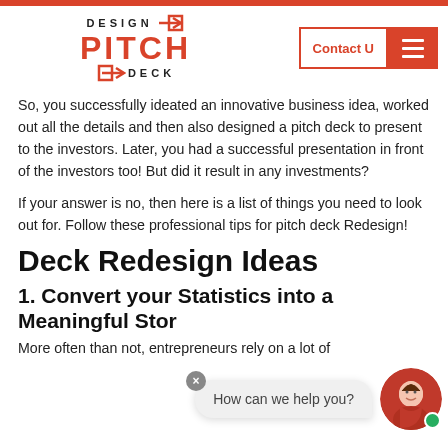[Figure (logo): Design Pitch Deck logo with orange arrows and text]
So, you successfully ideated an innovative business idea, worked out all the details and then also designed a pitch deck to present to the investors. Later, you had a successful presentation in front of the investors too! But did it result in any investments?
If your answer is no, then here is a list of things you need to look out for. Follow these professional tips for pitch deck Redesign!
Deck Redesign Ideas
1. Convert your Statistics into a Meaningful Stor
More often than not, entrepreneurs rely on a lot of